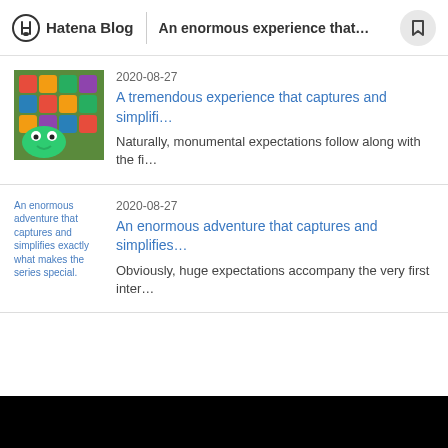Hatena Blog | An enormous experience that...
2020-08-27
A tremendous experience that captures and simplifi…
Naturally, monumental expectations follow along with the fi…
2020-08-27
An enormous adventure that captures and simplifies…
Obviously, huge expectations accompany the very first inter…